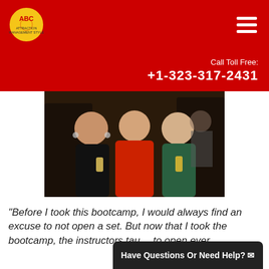ABC — Attraction Management Style logo and navigation
Call Toll Free:
+1-323-317-2431
[Figure (photo): Three people posing together smiling at a social event; man in red shirt in center, woman in black dress on left, woman in green dress on right]
“Before I took this bootcamp, I would always find an excuse to not open a set. But now that I took the bootcamp, the instructors tau... to open ever...
Have Questions Or Need Help? ✉